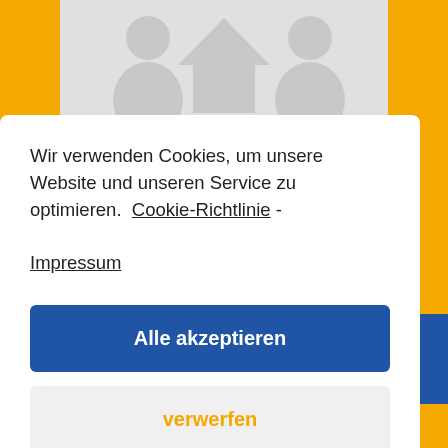[Figure (screenshot): Gray placeholder image with person and house icons in the background header area]
Wir verwenden Cookies, um unsere Website und unseren Service zu optimieren.  Cookie-Richtlinie - Impressum
Alle akzeptieren
verwerfen
Vorlieben
Alexandra